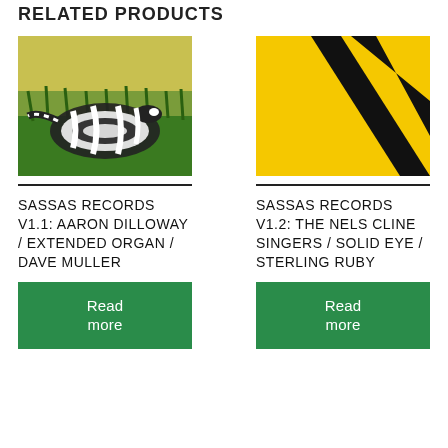RELATED PRODUCTS
[Figure (illustration): Illustration of black and white banded snakes on green grass background]
SASSAS RECORDS V1.1: AARON DILLOWAY / EXTENDED ORGAN / DAVE MULLER
Read more
[Figure (illustration): Yellow background with two diagonal black stripes]
SASSAS RECORDS V1.2: THE NELS CLINE SINGERS / SOLID EYE / STERLING RUBY
Read more